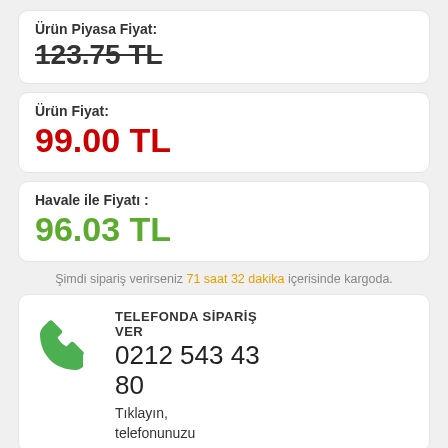Ürün Piyasa Fiyat: 123.75 TL (strikethrough)
Ürün Fiyat: 99.00 TL
Havale ile Fiyatı : 96.03 TL
Şimdi sipariş verirseniz 71 saat 32 dakika içerisinde kargoda.
TELEFONDA SİPARİŞ VER 0212 543 43 80 Tıklayın, telefonunuzu